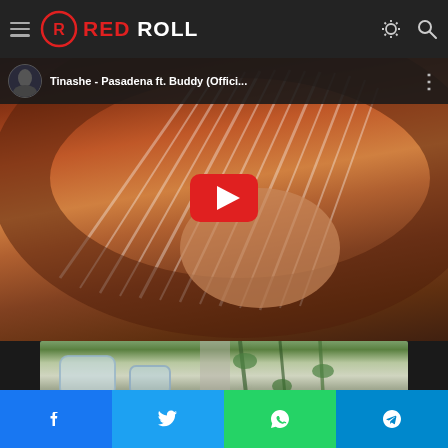RED ROLL — website header with hamburger menu, logo, sun/search icons
[Figure (screenshot): YouTube video thumbnail for 'Tinashe - Pasadena ft. Buddy (Offici...' showing a woman wearing a large decorative brick-pattern hat/headpiece, with red YouTube play button in center]
[Figure (photo): Aerial or landscape photo showing an outdoor area with greenery, concrete surfaces and what appears to be pools or structures viewed from above]
Share buttons: Facebook, Twitter, WhatsApp, Telegram